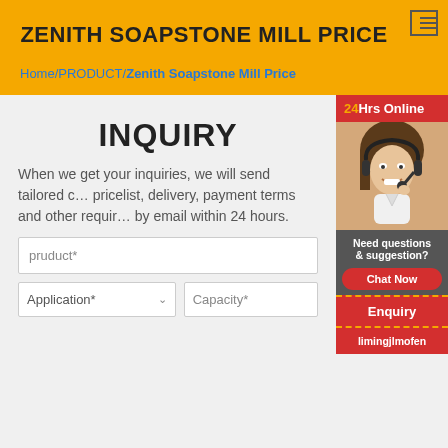ZENITH SOAPSTONE MILL PRICE
Home/PRODUCT/Zenith Soapstone Mill Price
INQUIRY
When we get your inquiries, we will send tailored catalogue, pricelist, delivery, payment terms and other required details to you by email within 24 hours.
pruduct*
Application*
Capacity*